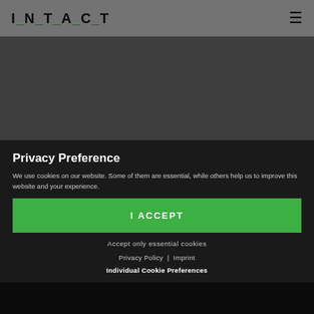I_N_T_A_C_T
[Figure (photo): Gray hero image banner area]
Intact Finance
Where Do You See Intact and
I think our plan for the next few years is clear: Intact will continue to expand its market position in the traditional area and be a pioneer in leading customers' processes and structures to improved efficiency. In addi...
Privacy Preference
We use cookies on our website. Some of them are essential, while others help us to improve this website and your experience.
I ACCEPT
Accept only essential cookies
Privacy Policy | Imprint
Individual Cookie Preferences